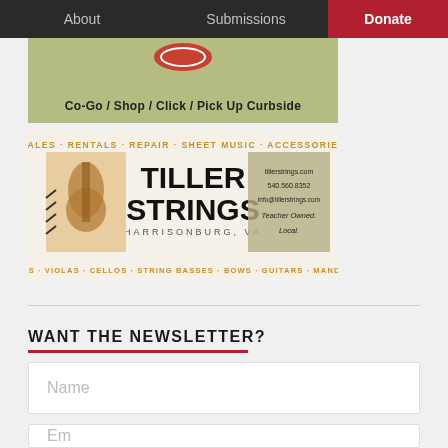About | Submissions | Donate
[Figure (infographic): Co-Go banner with olive/green background showing text: Co-Go / Shop / Click / Pick Up Curbside]
[Figure (infographic): Tiller Strings advertisement: Sales · Rentals · Repair · Sheet Music · Accessories. Tiller Strings Harrisonburg, VA. Violins · Violas · Cellos · String Basses · Bows · Guitars · Mandolins. Teacher Owned. Local.]
WANT THE NEWSLETTER?
Name
Email